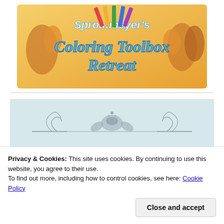[Figure (illustration): Sproatmeyer's Coloring Toolbox Retreat logo with illustrated characters holding art supplies and colorful text on an orange/warm background]
[Figure (illustration): Light blue-gray background image with decorative ornamental divider and partially visible text reading 'SIGN UP FOR CLASSES']
Privacy & Cookies: This site uses cookies. By continuing to use this website, you agree to their use.
To find out more, including how to control cookies, see here: Cookie Policy
Close and accept